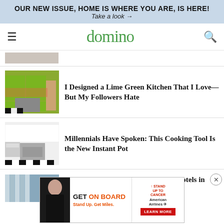OUR NEW ISSUE, HOME IS WHERE YOU ARE, IS HERE! Take a look →
domino
[Figure (screenshot): Partially visible kitchen thumbnail at top]
I Designed a Lime Green Kitchen That I Love—But My Followers Hate
[Figure (photo): White kitchen with black and white checkered floor]
Millennials Have Spoken: This Cooking Tool Is the New Instant Pot
[Figure (photo): Partially visible hotel view thumbnail]
Our Favorite Views From the Best Hotels in
[Figure (photo): Advertisement: GET ON BOARD, Stand Up. Get Miles. American Airlines / Stand Up To Cancer. LEARN MORE]